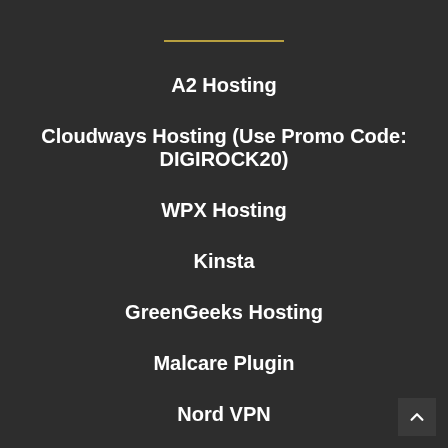A2 Hosting
Cloudways Hosting (Use Promo Code: DIGIROCK20)
WPX Hosting
Kinsta
GreenGeeks Hosting
Malcare Plugin
Nord VPN